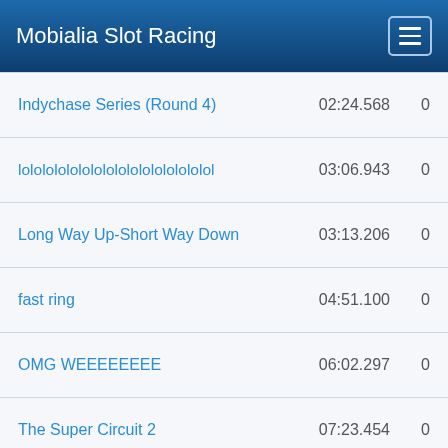Mobialia Slot Racing
| Name | Time | Score |
| --- | --- | --- |
| Indychase Series (Round 4) | 02:24.568 | 0 |
| lolololololololololololololololol | 03:06.943 | 0 |
| Long Way Up-Short Way Down | 03:13.206 | 0 |
| fast ring | 04:51.100 | 0 |
| OMG WEEEEEEEE | 06:02.297 | 0 |
| The Super Circuit 2 | 07:23.454 | 0 |
| waahoo | 53:19.995 | 0 |
© 2012 Mobialia - Privacy Policy / LOPD